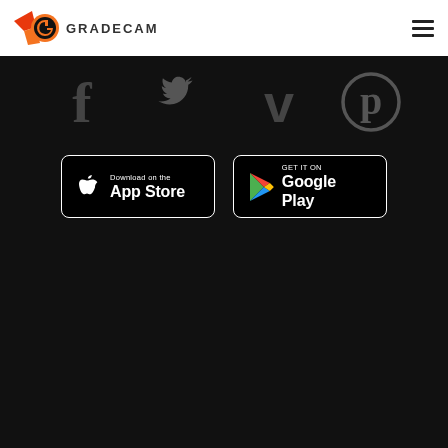GradeCam logo and navigation hamburger menu
[Figure (logo): GradeCam logo with orange wing and G icon, text GRADECAM]
[Figure (infographic): Social media icons: Facebook, Twitter, Vine/Vimeo, Pinterest displayed in dark grey on black background]
[Figure (infographic): App store download buttons: 'Download on the App Store' (Apple) and 'GET IT ON Google Play']